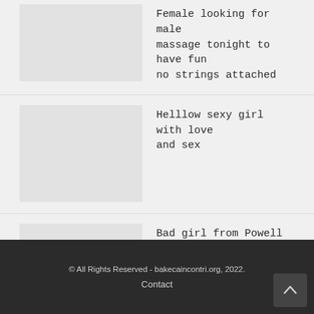Female looking for male massage tonight to have fun no strings attached
Helllow sexy girl with love and sex
Bad girl from Powell River looking for sex fun over drinks
© All Rights Reserved - bakecaincontri.org, 2022.
Contact